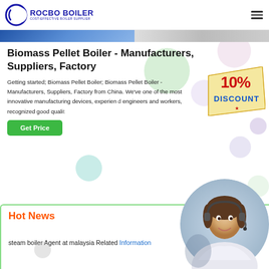[Figure (logo): Rocbo Boiler logo with crescent moon icon and text 'ROCBO BOILER - COST-EFFECTIVE BOILER SUPPLIER']
[Figure (photo): Hero banner image strip showing industrial/people scene]
Biomass Pellet Boiler - Manufacturers, Suppliers, Factory
Getting started; Biomass Pellet Boiler; Biomass Pellet Boiler - Manufacturers, Suppliers, Factory from China. We've one of the most innovative manufacturing devices, experienced engineers and workers, recognized good quali...
[Figure (infographic): 10% DISCOUNT badge/stamp in red and yellow]
[Figure (photo): Customer service representative woman wearing headset, circular cropped photo]
Hot News
steam boiler Agent at malaysia Related Information